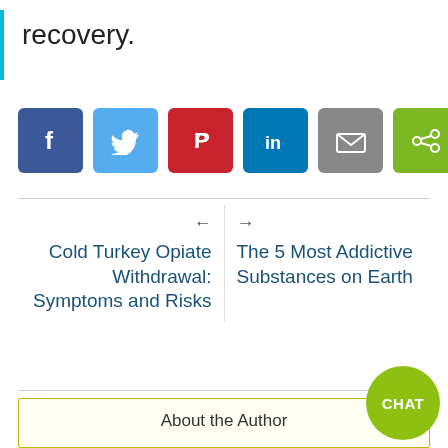recovery.
[Figure (infographic): Social media share buttons: Facebook (dark blue), Twitter (light blue), Pinterest (red), LinkedIn (dark teal), Email (gray), Share (green)]
← Cold Turkey Opiate Withdrawal: Symptoms and Risks
→ The 5 Most Addictive Substances on Earth
About the Author